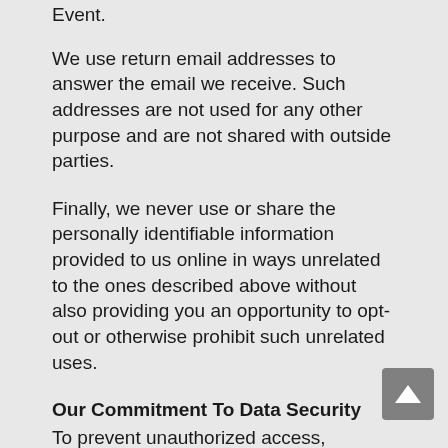Event.
We use return email addresses to answer the email we receive. Such addresses are not used for any other purpose and are not shared with outside parties.
Finally, we never use or share the personally identifiable information provided to us online in ways unrelated to the ones described above without also providing you an opportunity to opt-out or otherwise prohibit such unrelated uses.
Our Commitment To Data Security
To prevent unauthorized access, maintain data accuracy, and ensure the correct use of information, we have put in place appropriate physical, electronic, and managerial procedures to safeguard and secure the information we collect online.